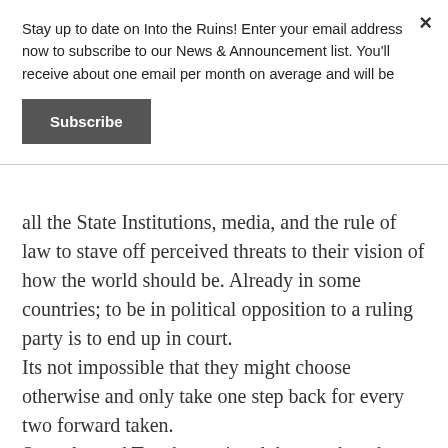Stay up to date on Into the Ruins! Enter your email address now to subscribe to our News & Announcement list. You'll receive about one email per month on average and will be
Subscribe
all the State Institutions, media, and the rule of law to stave off perceived threats to their vision of how the world should be. Already in some countries; to be in political opposition to a ruling party is to end up in court.
Its not impossible that they might choose otherwise and only take one step back for every two forward taken.
Spengler and Toynbee pointed the way here but suffer from their place in time. Or is it hubris to think its different for our time?